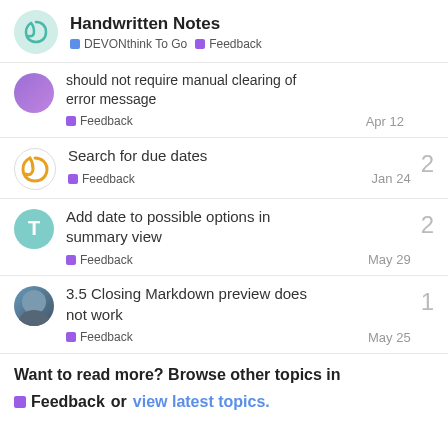Handwritten Notes — DEVONthink To Go | Feedback
should not require manual clearing of error message — Feedback — Apr 12
Search for due dates — Feedback — Jan 24 — 2 replies
Add date to possible options in summary view — Feedback — May 29 — 2 replies
3.5 Closing Markdown preview does not work — Feedback — May 25 — 1 reply
Want to read more? Browse other topics in Feedback or view latest topics.